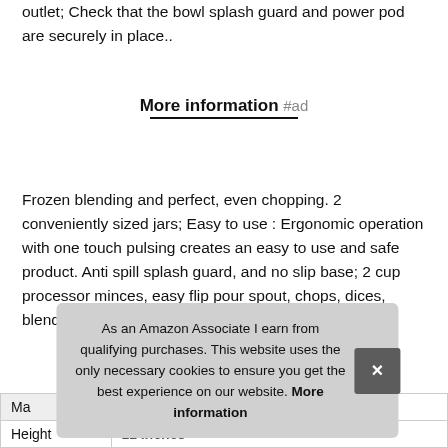outlet; Check that the bowl splash guard and power pod are securely in place..
More information #ad
Frozen blending and perfect, even chopping. 2 conveniently sized jars; Easy to use : Ergonomic operation with one touch pulsing creates an easy to use and safe product. Anti spill splash guard, and no slip base; 2 cup processor minces, easy flip pour spout, chops, dices, blends and purees.
As an Amazon Associate I earn from qualifying purchases. This website uses the only necessary cookies to ensure you get the best experience on our website. More information
| Ma |  |
| Height | 11 inches |